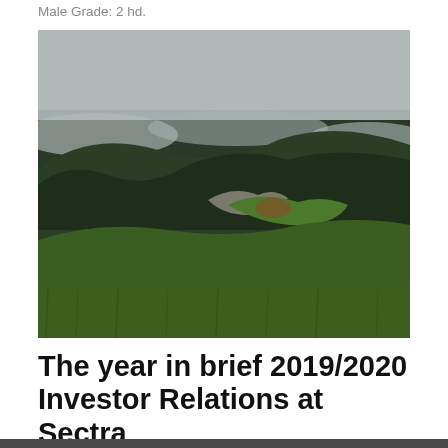Male Grade: 2 hd.
[Figure (photo): A misty landscape photograph showing green hills covered with dark conifer trees partially obscured by low clouds and fog. The foreground shows green grass meadow, the middle ground has rocky outcrops with bright green shrubs, and the background shows dense dark forest with mist and grey overcast sky.]
The year in brief 2019/2020 Investor Relations at Sectra